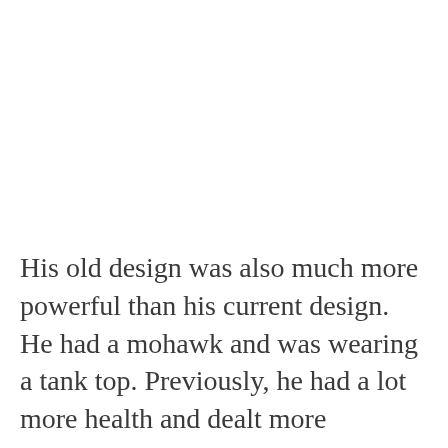His old design was also much more powerful than his current design. He had a mohawk and was wearing a tank top. Previously, he had a lot more health and dealt more damage. He was a big bald man and had the largest